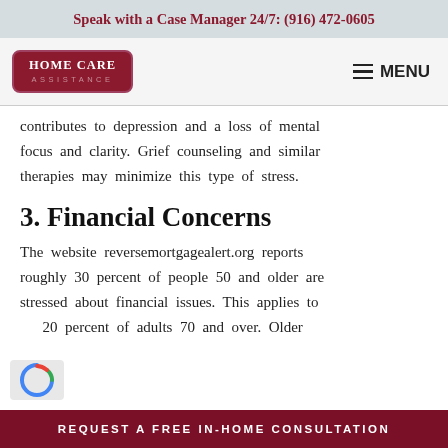Speak with a Case Manager 24/7: (916) 472-0605
[Figure (logo): Home Care Assistance logo — dark red rounded rectangle with white text HOME CARE ASSISTANCE]
contributes to depression and a loss of mental focus and clarity. Grief counseling and similar therapies may minimize this type of stress.
3. Financial Concerns
The website reversemortgagealert.org reports roughly 30 percent of people 50 and older are stressed about financial issues. This applies to 20 percent of adults 70 and over. Older
REQUEST A FREE IN-HOME CONSULTATION